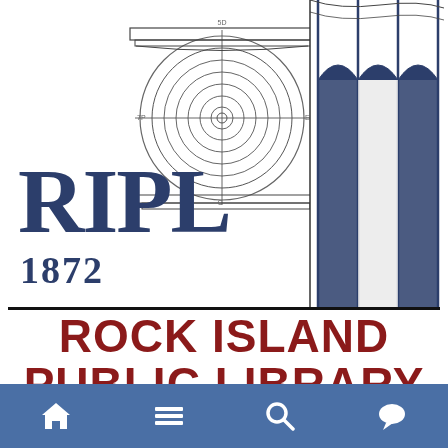[Figure (logo): Rock Island Public Library logo: architectural column capital diagram in blue/grey line art, with large 'RIPL' text in dark navy and '1872' below, followed by 'ROCK ISLAND PUBLIC LIBRARY' in bold dark red]
Rock Island Public Library children's librarians will continue to show up at our Longview Park Library2Go
[Figure (screenshot): Mobile app navigation bar with home, menu, search, and chat icons on a blue background]